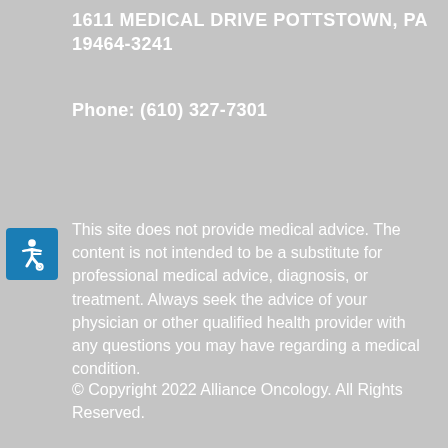1611 MEDICAL DRIVE POTTSTOWN, PA 19464-3241
Phone: (610) 327-7301
This site does not provide medical advice. The content is not intended to be a substitute for professional medical advice, diagnosis, or treatment. Always seek the advice of your physician or other qualified health provider with any questions you may have regarding a medical condition.
© Copyright 2022 Alliance Oncology. All Rights Reserved.